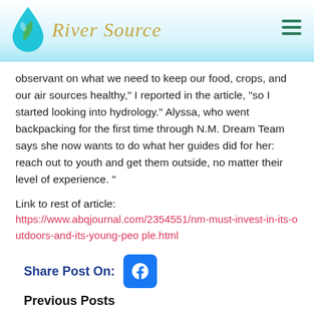River Source
observant on what we need to keep our food, crops, and our air sources healthy," I reported in the article, "so I started looking into hydrology." Alyssa, who went backpacking for the first time through N.M. Dream Team says she now wants to do what her guides did for her: reach out to youth and get them outside, no matter their level of experience. "
Link to rest of article: https://www.abqjournal.com/2354551/nm-must-invest-in-its-outdoors-and-its-young-peo ple.html
Share Post On:
Previous Posts